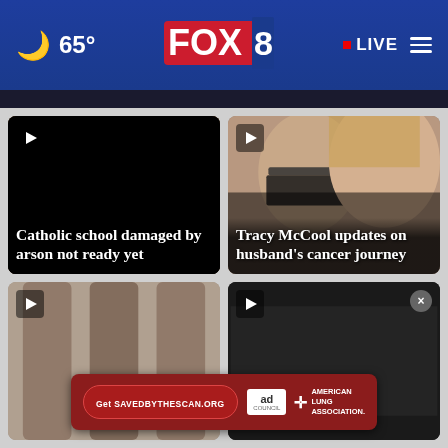FOX 8 — 65° — LIVE
[Figure (screenshot): News thumbnail: damaged structure interior, burned wooden beams]
Catholic school damaged by arson not ready yet
[Figure (photo): News thumbnail: man with glasses wearing black mask and woman with blonde hair]
Tracy McCool updates on husband's cancer journey
[Figure (photo): News thumbnail: lower body shots, partially visible]
[Figure (photo): News thumbnail: dark, partially visible with close button]
[Figure (other): Ad banner: Get SAVEDBYTHESCAN.ORG — Ad Council — American Lung Association]